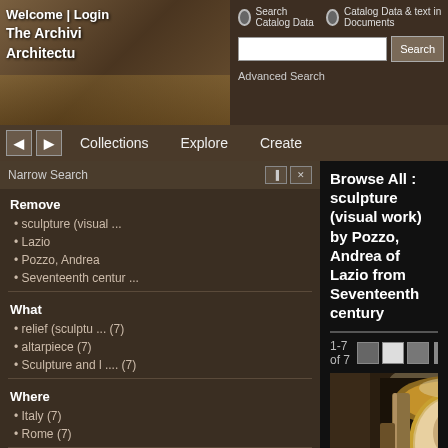Welcome | Login | The Archivi Architectu
Search Catalog Data | Catalog Data & text in Documents | Search | Advanced Search
Collections | Explore | Create
Narrow Search
Remove
sculpture (visual ...
Lazio
Pozzo, Andrea
Seventeenth centur ...
What
relief (sculptu ... (7)
altarpiece (7)
Sculpture and l .... (7)
Where
Italy (7)
Rome (7)
Who
Italian (7)
Legros, Pierre, ... (7)
Browse All : sculpture (visual work) by Pozzo, Andrea of Lazio from Seventeenth century
1-7 of 7
[Figure (photo): Interior of Cappella Lancelotti showing ornate baroque altarpiece with gilded columns and relief sculpture]
Cappella Lancelotti, Apotheo ...
relief, 1697-1699 (creation)
repository: Sant'Ignazio (Ro ...
Andrea Pozzo (Italian sculpt...